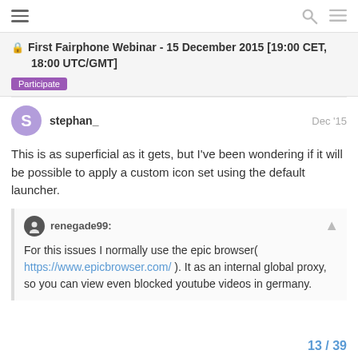First Fairphone Webinar - 15 December 2015 [19:00 CET, 18:00 UTC/GMT]
Participate
stephan_
Dec '15
This is as superficial as it gets, but I've been wondering if it will be possible to apply a custom icon set using the default launcher.
renegade99:
For this issues I normally use the epic browser( https://www.epicbrowser.com/ ). It as an internal global proxy, so you can view even blocked youtube videos in germany.
13 / 39